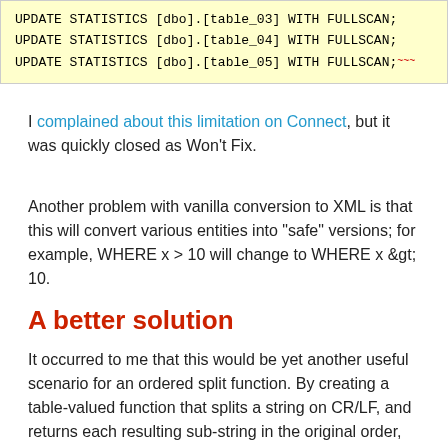[Figure (screenshot): Code block with yellow background showing SQL UPDATE STATISTICS commands for table_03, table_04, table_05 with FULLSCAN option]
I complained about this limitation on Connect, but it was quickly closed as Won't Fix.
Another problem with vanilla conversion to XML is that this will convert various entities into "safe" versions; for example, WHERE x > 10 will change to WHERE x &gt; 10.
A better solution
It occurred to me that this would be yet another useful scenario for an ordered split function. By creating a table-valued function that splits a string on CR/LF, and returns each resulting sub-string in the original order, we could return all of the query - in either text or grid mode. First, let's create a Numbers table: